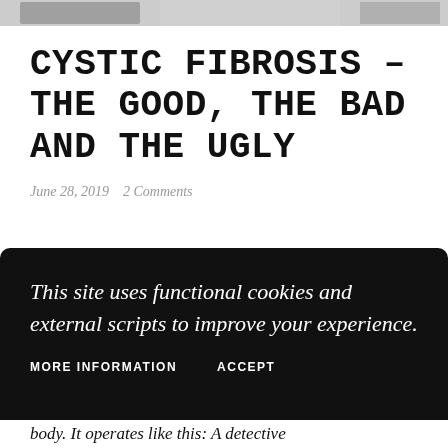[Figure (photo): Partial grayscale photo at top of page, partially cropped]
CYSTIC FIBROSIS – THE GOOD, THE BAD AND THE UGLY
June 28, 2019   2 Comments
This site uses functional cookies and external scripts to improve your experience.
MORE INFORMATION   ACCEPT
body. It operates like this: A detective